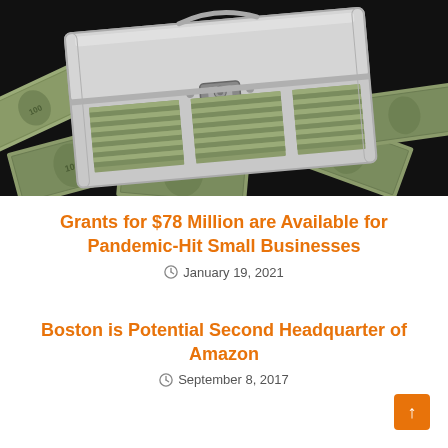[Figure (photo): Photo of an open aluminum briefcase filled with US $100 dollar bills, with more loose bills scattered around it on a dark background.]
Grants for $78 Million are Available for Pandemic-Hit Small Businesses
January 19, 2021
Boston is Potential Second Headquarter of Amazon
September 8, 2017